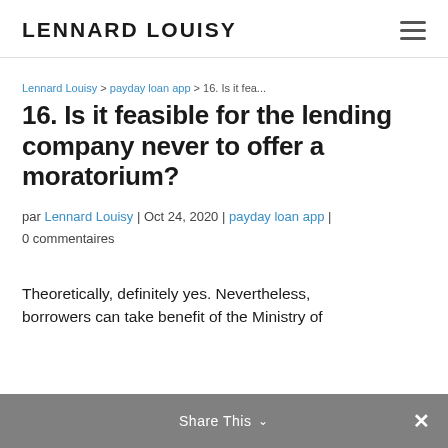LENNARD LOUISY
Lennard Louisy > payday loan app > 16. Is it fea...
16. Is it feasible for the lending company never to offer a moratorium?
par Lennard Louisy | Oct 24, 2020 | payday loan app | 0 commentaires
Theoretically, definitely yes. Nevertheless, borrowers can take benefit of the Ministry of